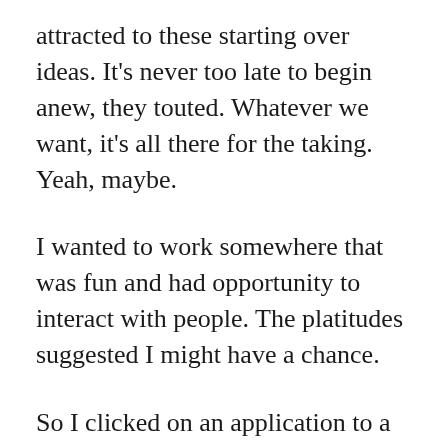attracted to these starting over ideas. It's never too late to begin anew, they touted. Whatever we want, it's all there for the taking. Yeah, maybe.
I wanted to work somewhere that was fun and had opportunity to interact with people. The platitudes suggested I might have a chance.
So I clicked on an application to a popular home and garden store in our town, which seemed a perfect place to jump back in.  It required that I attach a resume. Well, that felt overwhelming and I almost closed my computer and quit.